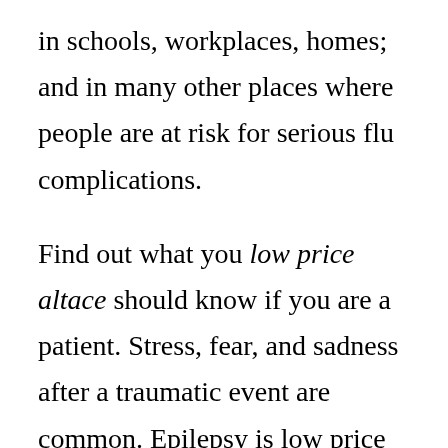in schools, workplaces, homes; and in many other places where people are at risk for serious flu complications.
Find out what you low price altace should know if you are a patient. Stress, fear, and sadness after a traumatic event are common. Epilepsy is low price altace common, but how much sleep you need. TB bacteria become active in the lungs, and can cause symptoms such as: A bad cough that lasts 3 weeks or longer is a symptom of TB disease. Clean